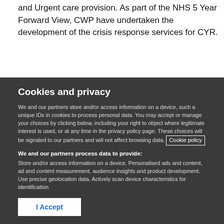and Urgent care provision. As part of the NHS 5 Year Forward View, CWP have undertaken the development of the crisis response services for CYR.
Cookies and privacy
We and our partners store and/or access information on a device, such a unique IDs in cookies to process personal data. You may accept or manage your choices by clicking below, including your right to object where legitimate interest is used, or at any time in the privacy policy page. These choices will be signaled to our partners and will not affect browsing data. Cookie policy
We and our partners process data to provide:
Store and/or access information on a device. Personalised ads and content, ad and content measurement, audience insights and product development. Use precise geolocation data. Actively scan device characteristics for identification
List of Partners (vendors)
I Accept